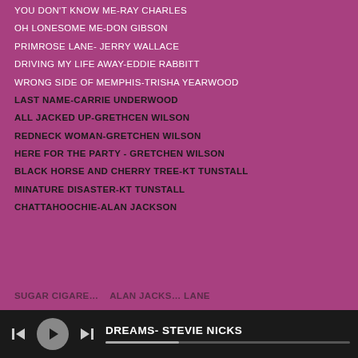YOU DON'T KNOW ME-RAY CHARLES
OH LONESOME ME-DON GIBSON
PRIMROSE LANE- JERRY WALLACE
DRIVING MY LIFE AWAY-EDDIE RABBITT
WRONG SIDE OF MEMPHIS-TRISHA YEARWOOD
LAST NAME-CARRIE UNDERWOOD
ALL JACKED UP-GRETHCEN WILSON
REDNECK WOMAN-GRETCHEN WILSON
HERE FOR THE PARTY - GRETCHEN WILSON
BLACK HORSE AND CHERRY TREE-KT TUNSTALL
MINATURE DISASTER-KT TUNSTALL
CHATTAHOOCHIE-ALAN JACKSON
SUGAR SOMETHING (partial, cut off)
[Figure (screenshot): Music player transport bar at bottom with previous, play, next buttons and now-playing title 'DREAMS- STEVIE NICKS' with progress bar]